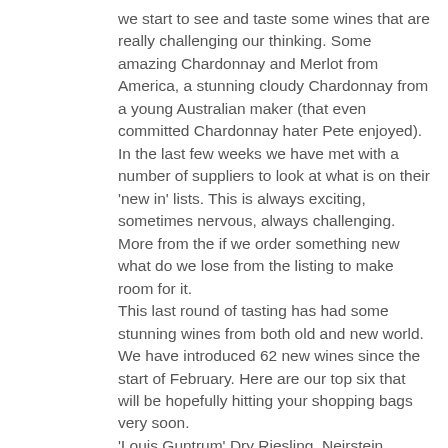we start to see and taste some wines that are really challenging our thinking. Some amazing Chardonnay and Merlot from America, a stunning cloudy Chardonnay from a young Australian maker (that even committed Chardonnay hater Pete enjoyed).
In the last few weeks we have met with a number of suppliers to look at what is on their 'new in' lists. This is always exciting, sometimes nervous, always challenging. More from the if we order something new what do we lose from the listing to make room for it.
This last round of tasting has had some stunning wines from both old and new world. We have introduced 62 new wines since the start of February. Here are our top six that will be hopefully hitting your shopping bags very soon.
'Louis Guntrum' Dry Riesling, Neirstein, Germany. This dry Riesling has wonderfully delicate notes of white peaches, apricot and juicy pears. Its classic Riesling from a classic producer! Forget those memories from the 70s/80s we just ADORE Riesling.
'Ramon Bilbao' Albarino, Rias Baixas, Spain.